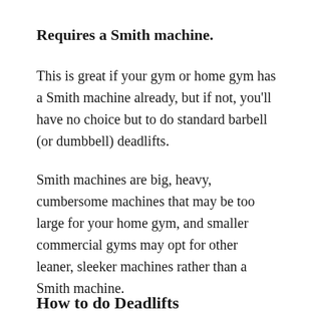Requires a Smith machine.
This is great if your gym or home gym has a Smith machine already, but if not, you'll have no choice but to do standard barbell (or dumbbell) deadlifts.
Smith machines are big, heavy, cumbersome machines that may be too large for your home gym, and smaller commercial gyms may opt for other leaner, sleeker machines rather than a Smith machine.
How to do Deadlifts